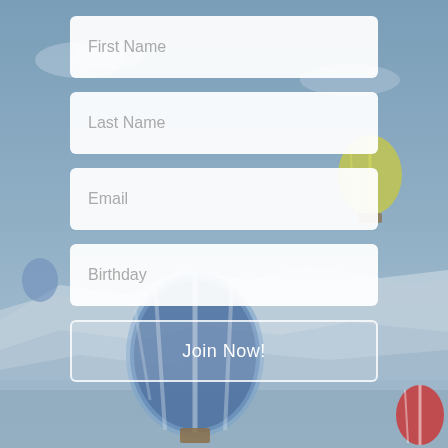[Figure (photo): Background photo of hot air balloons in a blue sky with mountains in the distance. Multiple colorful hot air balloons are visible, including a large blue/white striped balloon in the lower center and a red/white striped balloon at bottom right. A yellow-green balloon is partially visible in the upper right area.]
First Name
Last Name
Email
Birthday
Join Now!